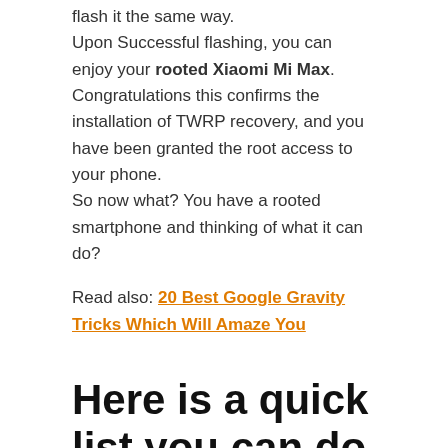flash it the same way.
Upon Successful flashing, you can enjoy your rooted Xiaomi Mi Max.
Congratulations this confirms the installation of TWRP recovery, and you have been granted the root access to your phone.
So now what? You have a rooted smartphone and thinking of what it can do?
Read also: 20 Best Google Gravity Tricks Which Will Amaze You
Here is a quick list you can do immediately